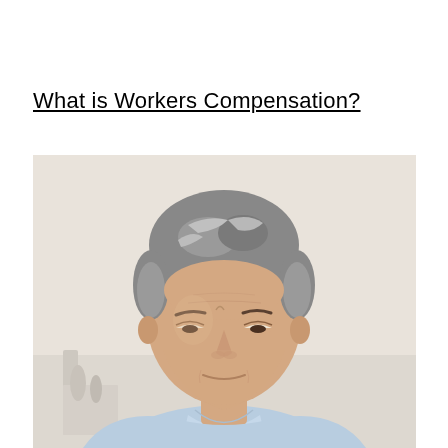What is Workers Compensation?
[Figure (photo): A middle-aged man with graying hair wearing a light blue polo shirt, looking downward with a concerned or pained expression, photographed against a light beige/white background. The image suggests a worker in distress or discomfort.]